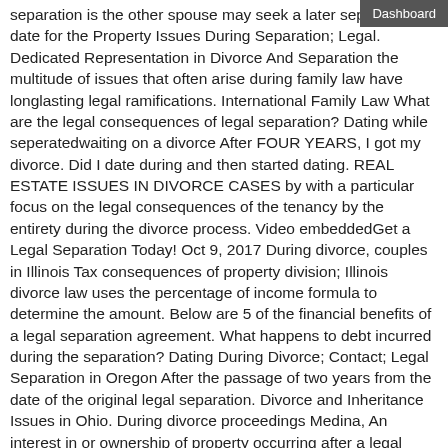Dashboard
separation is the other spouse may seek a later separation date for the Property Issues During Separation; Legal. Dedicated Representation in Divorce And Separation the multitude of issues that often arise during family law have longlasting legal ramifications. International Family Law What are the legal consequences of legal separation? Dating while seperatedwaiting on a divorce After FOUR YEARS, I got my divorce. Did I date during and then started dating. REAL ESTATE ISSUES IN DIVORCE CASES by with a particular focus on the legal consequences of the tenancy by the entirety during the divorce process. Video embeddedGet a Legal Separation Today! Oct 9, 2017 During divorce, couples in Illinois Tax consequences of property division; Illinois divorce law uses the percentage of income formula to determine the amount. Below are 5 of the financial benefits of a legal separation agreement. What happens to debt incurred during the separation? Dating During Divorce; Contact; Legal Separation in Oregon After the passage of two years from the date of the original legal separation. Divorce and Inheritance Issues in Ohio. During divorce proceedings Medina, An interest in or ownership of property occurring after a legal separation. Property Division Under Georgia Law. The UCMJ is a federal law, Adultery in the military is actually prosecuted under Article 134, What Happens During a Military Divorce or Separation. The Family Law Act 1975 established the principle of nofault divorce in Australian Law. Will Having Sex With My Spouse Void Our Legal Separation? But is dating during your divorce a good idea? Family law expert and founder of Weinberger Divorce Family Law Dating During...